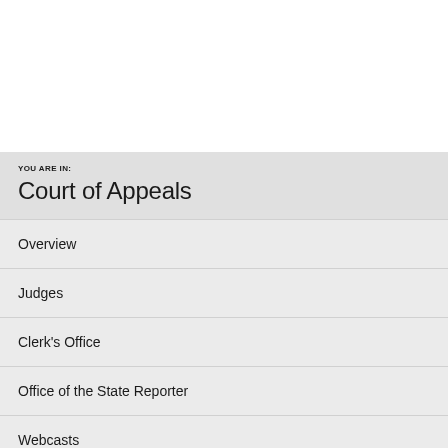YOU ARE IN: Court of Appeals
Overview
Judges
Clerk's Office
Office of the State Reporter
Webcasts